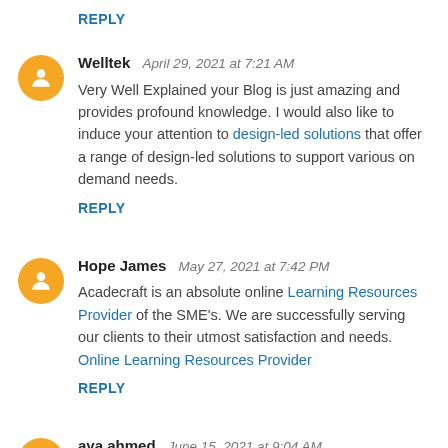REPLY
Welltek  April 29, 2021 at 7:21 AM
Very Well Explained your Blog is just amazing and provides profound knowledge. I would also like to induce your attention to design-led solutions that offer a range of design-led solutions to support various on demand needs.
REPLY
Hope James  May 27, 2021 at 7:42 PM
Acadecraft is an absolute online Learning Resources Provider of the SME's. We are successfully serving our clients to their utmost satisfaction and needs. Online Learning Resources Provider
REPLY
aya ahmed  June 15, 2021 at 9:04 AM
شركة تنظيف خزانات بالمدينة المنورة